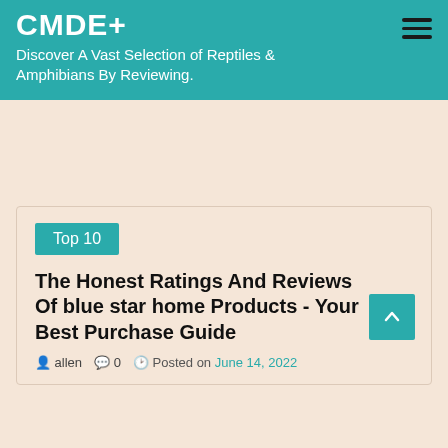CMDE+ — Discover A Vast Selection of Reptiles & Amphibians By Reviewing.
Top 10
The Honest Ratings And Reviews Of blue star home Products - Your Best Purchase Guide
allen   0   Posted on June 14, 2022